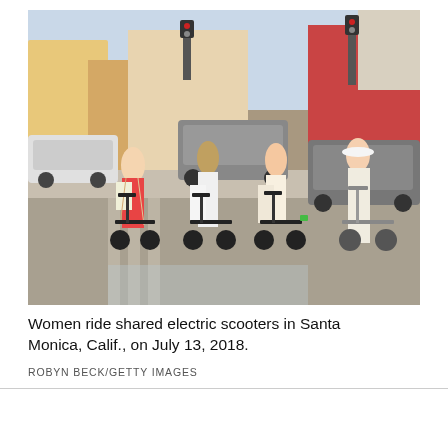[Figure (photo): Four women riding shared electric scooters across a street intersection in Santa Monica, California. Buildings, traffic lights, parked and moving cars visible in background. Sunny summer day.]
Women ride shared electric scooters in Santa Monica, Calif., on July 13, 2018.
ROBYN BECK/GETTY IMAGES
[Figure (infographic): Advertisement banner for The Globe and Mail subscription: $1.99 per week for 24 weeks.]